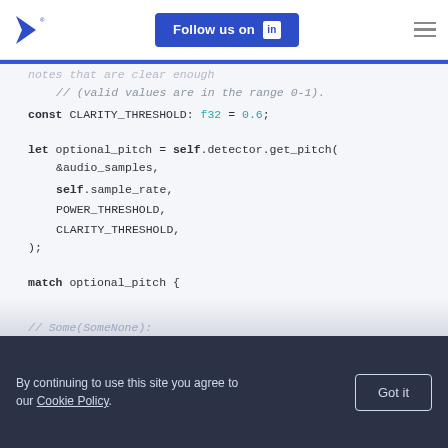Follow us on LinkedIn
notes that are clear enough
// (valid values are in the range 0-1).
const CLARITY_THRESHOLD: f32 = 0.6;

let optional_pitch = self.detector.get_pitch(
    &audio_samples,
    self.sample_rate,
    POWER_THRESHOLD,
    CLARITY_THRESHOLD,
);

match optional_pitch {
By continuing to use this site you agree to our Cookie Policy.